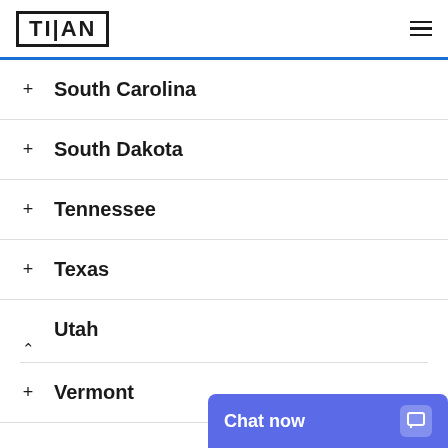[Figure (logo): TITAN logo in a rectangular border]
+ South Carolina
+ South Dakota
+ Tennessee
+ Texas
Utah (expanded, chevron up)
+ Vermont
[Figure (other): Chat now widget button in blue]